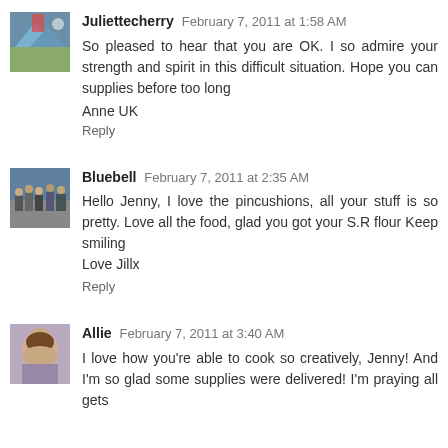[Figure (photo): Avatar thumbnail of Juliettecherry - outdoor scene with person]
Juliettecherry February 7, 2011 at 1:58 AM
So pleased to hear that you are OK. I so admire your strength and spirit in this difficult situation. Hope you can supplies before too long
Anne UK
Reply
[Figure (photo): Avatar thumbnail of Bluebell - crowd/event scene]
Bluebell February 7, 2011 at 2:35 AM
Hello Jenny, I love the pincushions, all your stuff is so pretty. Love all the food, glad you got your S.R flour Keep smiling
Love Jillx
Reply
[Figure (photo): Avatar thumbnail of Allie - portrait of woman]
Allie February 7, 2011 at 3:40 AM
I love how you're able to cook so creatively, Jenny! And I'm so glad some supplies were delivered! I'm praying all gets